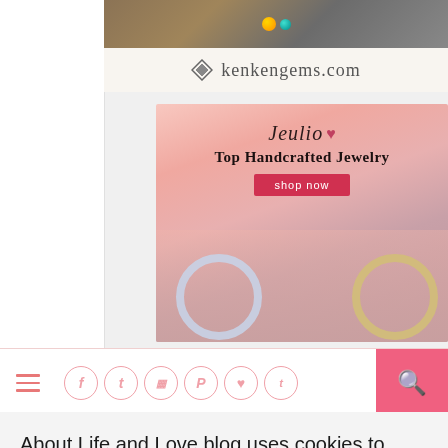[Figure (screenshot): KenKenGems.com advertisement banner with gemstone beads image and logo]
[Figure (screenshot): Jeulio Top Handcrafted Jewelry advertisement with pink floral background and diamond rings, shop now button]
[Figure (screenshot): Navigation bar with hamburger menu, social media icons (Facebook, Twitter, Instagram, Pinterest, heart, Tumblr), and pink search button]
About Life and Love blog uses cookies to ensure you get the best experience on our website.  Learn more
[Figure (screenshot): Got it! cookie consent button in pink]
[Figure (screenshot): Bottom banner partially visible: MOISSANITE ENGAGEMENT RINGS]